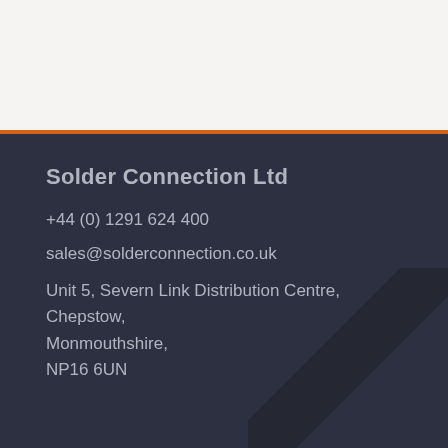Solder Connection Ltd
+44 (0) 1291 624 400
sales@solderconnection.co.uk
Unit 5, Severn Link Distribution Centre,
Chepstow,
Monmouthshire,
NP16 6UN